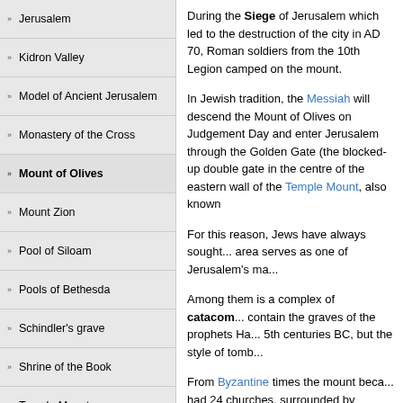Jerusalem
Kidron Valley
Model of Ancient Jerusalem
Monastery of the Cross
Mount of Olives
Mount Zion
Pool of Siloam
Pools of Bethesda
Schindler's grave
Shrine of the Book
Temple Mount
Tomb of King David
Tomb of Mary
During the Siege of Jerusalem which led to the destruction of the city in AD 70, Roman soldiers from the 10th Legion camped on the mount.
In Jewish tradition, the Messiah will descend the Mount of Olives on Judgement Day and enter Jerusalem through the Golden Gate (the blocked-up double gate in the centre of the eastern wall of the Temple Mount, also known
For this reason, Jews have always sought... area serves as one of Jerusalem's ma...
Among them is a complex of catacombs... contain the graves of the prophets Ha... 5th centuries BC, but the style of tomb...
From Byzantine times the mount beca... had 24 churches, surrounded by mona...